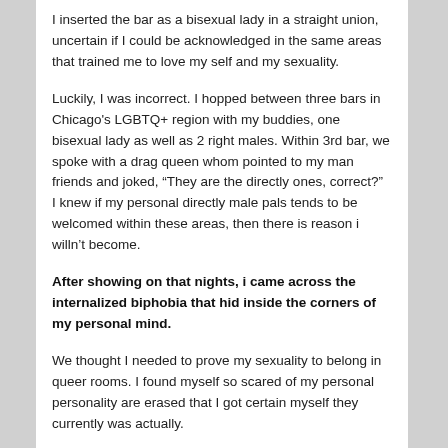I inserted the bar as a bisexual lady in a straight union, uncertain if I could be acknowledged in the same areas that trained me to love my self and my sexuality.
Luckily, I was incorrect. I hopped between three bars in Chicago's LGBTQ+ region with my buddies, one bisexual lady as well as 2 right males. Within 3rd bar, we spoke with a drag queen whom pointed to my man friends and joked, “They are the directly ones, correct?” I knew if my personal directly male pals tends to be welcomed within these areas, then there is reason i willn’t become.
After showing on that nights, i came across the internalized biphobia that hid inside the corners of my personal mind.
We thought I needed to prove my sexuality to belong in queer rooms. I found myself so scared of my personal personality are erased that I got certain myself they currently was actually.
But after a matter of days, i arrive inside one among those...